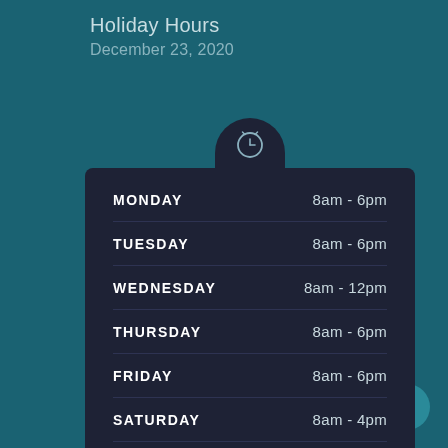Holiday Hours
December 23, 2020
| Day | Hours |
| --- | --- |
| MONDAY | 8am - 6pm |
| TUESDAY | 8am - 6pm |
| WEDNESDAY | 8am - 12pm |
| THURSDAY | 8am - 6pm |
| FRIDAY | 8am - 6pm |
| SATURDAY | 8am - 4pm |
| SUNDAY | Closed |